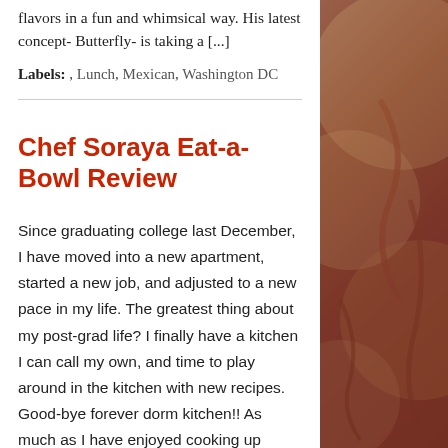flavors in a fun and whimsical way.  His latest concept- Butterfly- is taking a [...]
Labels: , Lunch, Mexican, Washington DC
Chef Soraya Eat-a-Bowl Review
Since graduating college last December, I have moved into a new apartment, started a new job, and adjusted to a new pace in my life. The greatest thing about my post-grad life? I finally have a kitchen I can call my own, and time to play around in the kitchen with new recipes. Good-bye forever dorm kitchen!!  As much as I have enjoyed cooking up curries, soups, and other meals, it [...]